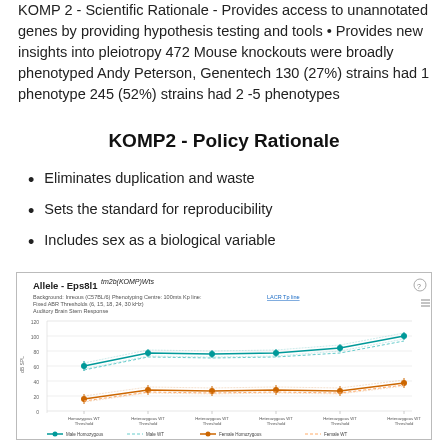KOMP 2 - Scientific Rationale - Provides access to unannotated genes by providing hypothesis testing and tools • Provides new insights into pleiotropy 472 Mouse knockouts were broadly phenotyped Andy Peterson, Genentech 130 (27%) strains had 1 phenotype 245 (52%) strains had 2 -5 phenotypes
KOMP2 - Policy Rationale
Eliminates duplication and waste
Sets the standard for reproducibility
Includes sex as a biological variable
[Figure (line-chart): Line chart showing allele phenotyping data for Eps8l1tm2b(KOMP)Wts with multiple series (Male Homozygous, Male WT, Female Homozygous, Female WT) across threshold conditions]